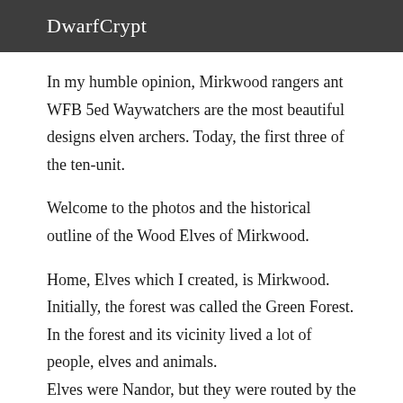DwarfCrypt
In my humble opinion, Mirkwood rangers ant WFB 5ed Waywatchers are the most beautiful designs elven archers. Today, the first three of the ten-unit.
Welcome to the photos and the historical outline of the Wood Elves of Mirkwood.
Home, Elves which I created, is Mirkwood.
Initially, the forest was called the Green Forest. In the forest and its vicinity lived a lot of people, elves and animals.
Elves were Nandor, but they were routed by the Sindar and